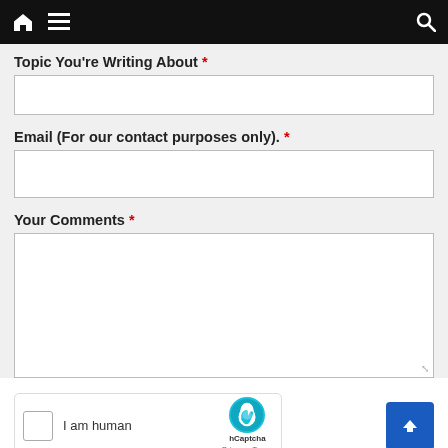Navigation bar with home, menu, and search icons
Topic You're Writing About *
Email (For our contact purposes only). *
Your Comments *
[Figure (other): hCaptcha widget with checkbox labeled 'I am human', hCaptcha logo, Privacy and Terms links]
[Figure (other): Blue scroll-to-top button with upward chevron arrow]